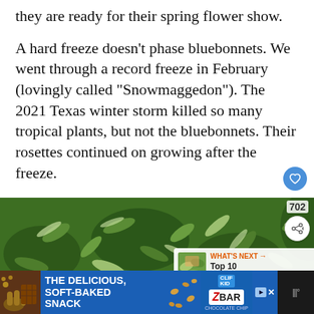they are ready for their spring flower show.
A hard freeze doesn't phase bluebonnets. We went through a record freeze in February (lovingly called “Snowmaggedon”). The 2021 Texas winter storm killed so many tropical plants, but not the bluebonnets. Their rosettes continued on growing after the freeze.
[Figure (photo): Close-up photograph of bluebonnet rosettes — dense green leafy plants with silver-white edges, filling the frame.]